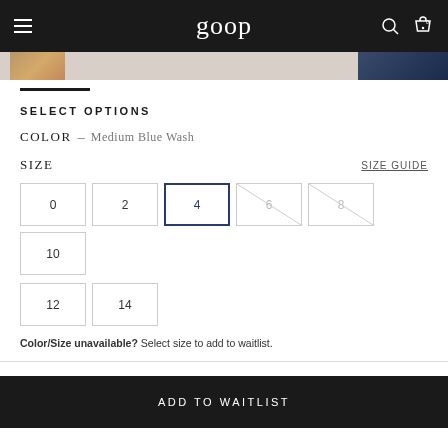goop
[Figure (screenshot): Product image thumbnails strip showing partial clothing images]
SELECT OPTIONS
COLOR — Medium Blue Wash
SIZE   SIZE GUIDE
Size options: 0, 2, 4 (selected), 6 (unavailable), 8 (unavailable), 10, 12, 14
Color/Size unavailable? Select size to add to waitlist.
ADD TO WAITLIST